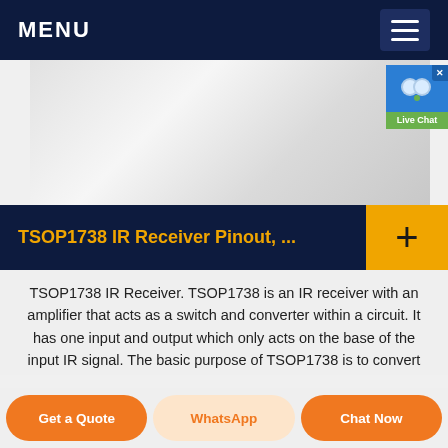MENU
[Figure (photo): Blurry close-up photo of white electronic components on a light grey surface]
TSOP1738 IR Receiver Pinout, ...
TSOP1738 IR Receiver. TSOP1738 is an IR receiver with an amplifier that acts as a switch and converter within a circuit. It has one input and output which only acts on the base of the input IR signal. The basic purpose of TSOP1738 is to convert the IR signal to electric signals. Every IR receiver has a special
Get a Quote
WhatsApp
Chat Now